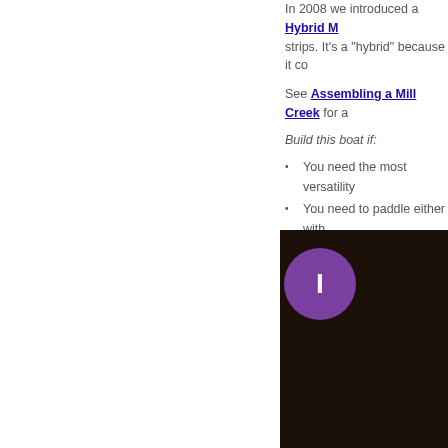In 2008 we introduced a Hybrid M... strips. It's a "hybrid" because it co...
See Assembling a Mill Creek for a...
Build this boat if:
You need the most versatility
You need to paddle either with...
You need flexible seating for t...
[Figure (photo): Dark photo of boat interior with a purple circle overlay containing the letter I]